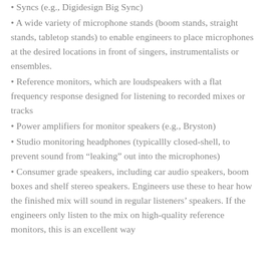Syncs (e.g., Digidesign Big Sync)
A wide variety of microphone stands (boom stands, straight stands, tabletop stands) to enable engineers to place microphones at the desired locations in front of singers, instrumentalists or ensembles.
Reference monitors, which are loudspeakers with a flat frequency response designed for listening to recorded mixes or tracks
Power amplifiers for monitor speakers (e.g., Bryston)
Studio monitoring headphones (typicallly closed-shell, to prevent sound from “leaking” out into the microphones)
Consumer grade speakers, including car audio speakers, boom boxes and shelf stereo speakers. Engineers use these to hear how the finished mix will sound in regular listeners’ speakers. If the engineers only listen to the mix on high-quality reference monitors, this is an excellent way